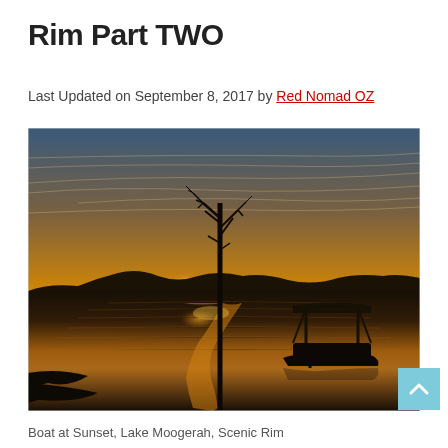Rim Part TWO
Last Updated on September 8, 2017 by Red Nomad OZ
[Figure (photo): Sunset photo of a boat moored on Lake Moogerah, Scenic Rim. The sky is orange and gold with the sun setting behind silhouetted hills. A dead tree stands in the water on the left. The boat is in the right foreground, silhouetted against the glowing water reflection.]
Boat at Sunset, Lake Moogerah, Scenic Rim